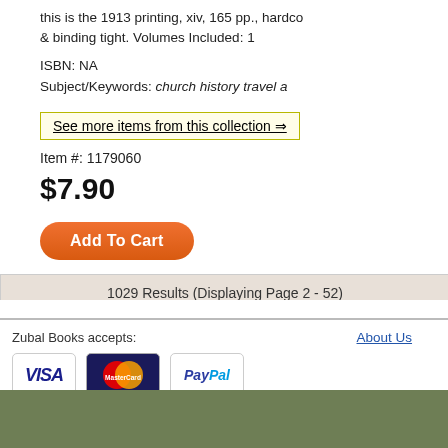this is the 1913 printing, xiv, 165 pp., hardco & binding tight. Volumes Included: 1
ISBN: NA
Subject/Keywords: church history travel a
See more items from this collection ⇒
Item #: 1179060
$7.90
Add To Cart
1029 Results (Displaying Page 2 - 52)
Zubal Books accepts:
About Us
[Figure (logo): Visa payment logo]
[Figure (logo): MasterCard payment logo]
[Figure (logo): PayPal payment logo]
Zubal Books ·